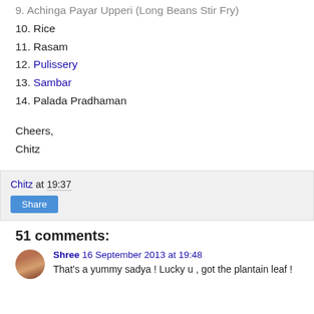9. Achinga Payar Upperi (Long Beans Stir Fry)
10. Rice
11. Rasam
12. Pulissery
13. Sambar
14. Palada Pradhaman
Cheers,
Chitz
Chitz at 19:37
Share
51 comments:
Shree 16 September 2013 at 19:48
That's a yummy sadya ! Lucky u , got the plantain leaf !